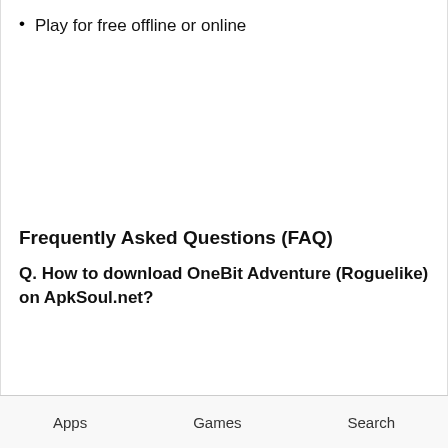Play for free offline or online
Frequently Asked Questions (FAQ)
Q. How to download OneBit Adventure (Roguelike) on ApkSoul.net?
Apps    Games    Search